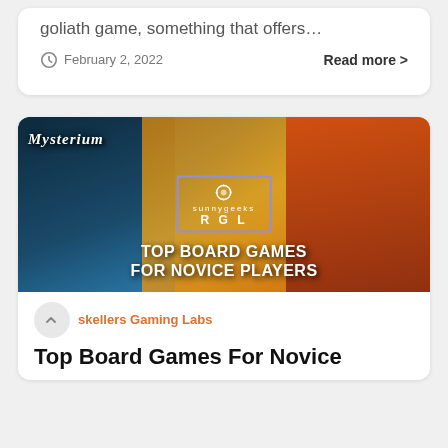goliath game, something that offers…
February 2, 2022
Read more >
[Figure (illustration): Collage image for Top Board Games For Novice Players article featuring Mysterium board game cover, animated characters, and text overlay with sunnygeeks RGL logo]
skellers Gaming Labs
Top Board Games For Novice